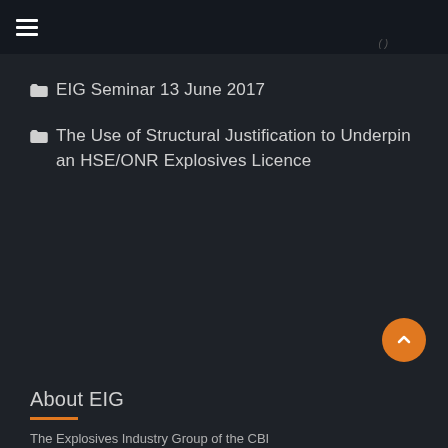EIG website navigation header
EIG Seminar 13 June 2017
The Use of Structural Justification to Underpin an HSE/ONR Explosives Licence
About EIG
The Explosives Industry Group of the CBI